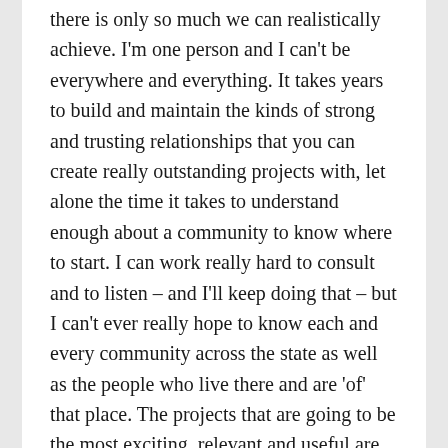there is only so much we can realistically achieve. I'm one person and I can't be everywhere and everything. It takes years to build and maintain the kinds of strong and trusting relationships that you can create really outstanding projects with, let alone the time it takes to understand enough about a community to know where to start. I can work really hard to consult and to listen – and I'll keep doing that – but I can't ever really hope to know each and every community across the state as well as the people who live there and are 'of' that place. The projects that are going to be the most exciting, relevant and useful are the projects that will come from people who know their communities deeply. Who love them but also see their faults. From people who are connected and embedded in those places.  So it makes much more sense to me that